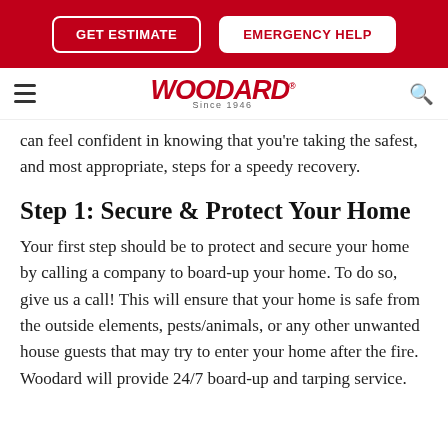GET ESTIMATE | EMERGENCY HELP
[Figure (logo): Woodard logo with hamburger menu and search icon navigation bar]
can feel confident in knowing that you're taking the safest, and most appropriate, steps for a speedy recovery.
Step 1: Secure & Protect Your Home
Your first step should be to protect and secure your home by calling a company to board-up your home. To do so, give us a call! This will ensure that your home is safe from the outside elements, pests/animals, or any other unwanted house guests that may try to enter your home after the fire. Woodard will provide 24/7 board-up and tarping service.